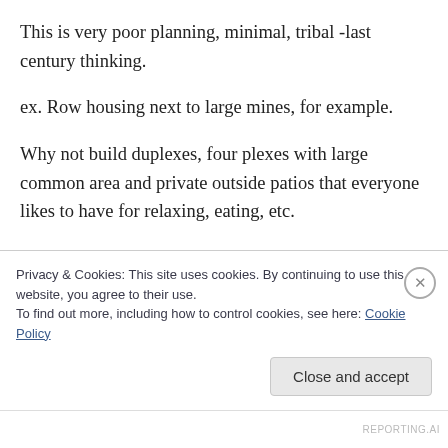This is very poor planning, minimal, tribal -last century thinking.
ex. Row housing next to large mines, for example.
Why not build duplexes, four plexes with large common area and private outside patios that everyone likes to have for relaxing, eating, etc.
There is no life trapped in a small box with small refrigerator, etc.
This is something for people who have nothing
Privacy & Cookies: This site uses cookies. By continuing to use this website, you agree to their use.
To find out more, including how to control cookies, see here: Cookie Policy
REPORTING.AI